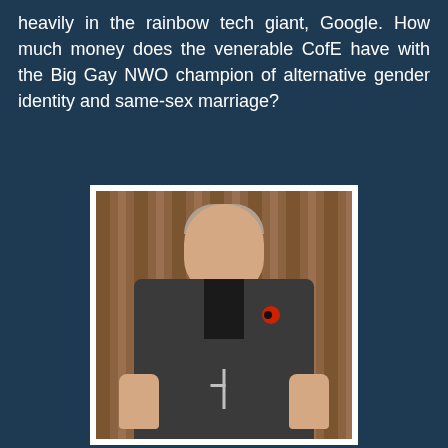heavily in the rainbow tech giant, Google. How much money does the venerable CofE have with the Big Gay NWO champion of alternative gender identity and same-sex marriage?
[Figure (photo): A man in clerical dress (dark suit jacket with clergy collar and cross necklace, red poppy on lapel) giving two thumbs up, standing in front of a wooden panel background.]